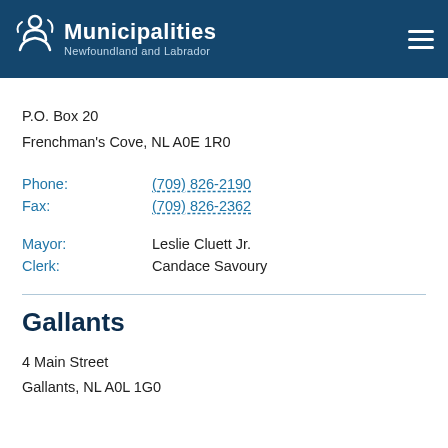Municipalities Newfoundland and Labrador
P.O. Box 20
Frenchman's Cove, NL A0E 1R0
Phone: (709) 826-2190
Fax: (709) 826-2362
Mayor: Leslie Cluett Jr.
Clerk: Candace Savoury
Gallants
4 Main Street
Gallants, NL A0L 1G0